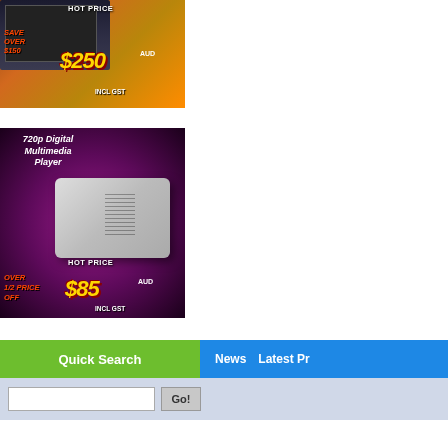[Figure (photo): Product advertisement for a device with HOT PRICE $250 AUD INCL GST, SAVE OVER $150]
[Figure (photo): 720p Digital Multimedia Player advertisement with HOT PRICE $85 AUD INCL GST, OVER 1/2 PRICE OFF]
Quick Search
News  Latest Pr
Go!
Copyright 2001-2022, Converters.tv Pty Ltd. Al Trademarks, brands, patents are the property of their respective